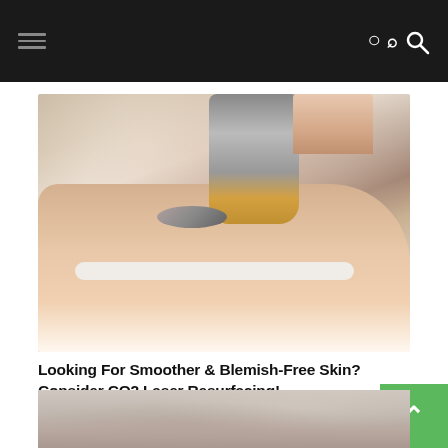Navigation menu with hamburger icon and search icon
[Figure (photo): Woman lying on treatment table with protective eye shields receiving CO2 laser resurfacing facial treatment from a medical professional holding a laser device]
Looking For Smoother & Blemish-Free Skin? Consider CO2 Laser Resurfacing!
[Figure (photo): Partial view of a person's head from behind, beginning of a second article image]